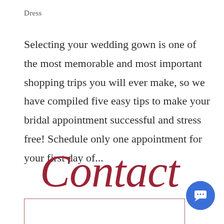Dress
Selecting your wedding gown is one of the most memorable and most important shopping trips you will ever make, so we have compiled five easy tips to make your bridal appointment successful and stress free! Schedule only one appointment for your first day of...
[Figure (other): Large italic script text reading 'Contact' in dark red/crimson color overlaying the bottom portion of the text block, with a decorative border box outline and a blue circular chat button icon in the bottom right corner]